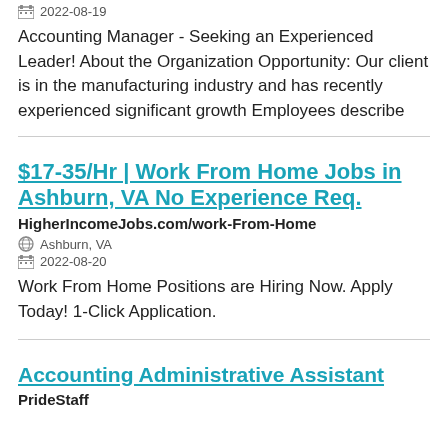2022-08-19
Accounting Manager - Seeking an Experienced Leader! About the Organization Opportunity: Our client is in the manufacturing industry and has recently experienced significant growth Employees describe
$17-35/Hr | Work From Home Jobs in Ashburn, VA No Experience Req.
HigherIncomeJobs.com/work-From-Home
Ashburn, VA
2022-08-20
Work From Home Positions are Hiring Now. Apply Today! 1-Click Application.
Accounting Administrative Assistant
PrideStaff